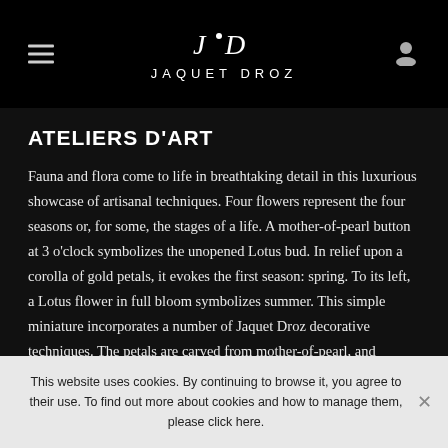JAQUET DROZ
ATELIERS D'ART
Fauna and flora come to life in breathtaking detail in this luxurious showcase of artisanal techniques. Four flowers represent the four seasons or, for some, the stages of a life. A mother-of-pearl button at 3 o'clock symbolizes the unopened Lotus bud. In relief upon a corolla of gold petals, it evokes the first season: spring. To its left, a Lotus flower in full bloom symbolizes summer. This simple miniature incorporates a number of Jaquet Droz decorative techniques. The petals are carved from mother-of-pearl, and finished with a thin coat of translucent paint that accentuates the relief. At its heart, a
This website uses cookies. By continuing to browse it, you agree to their use. To find out more about cookies and how to manage them, please click here.